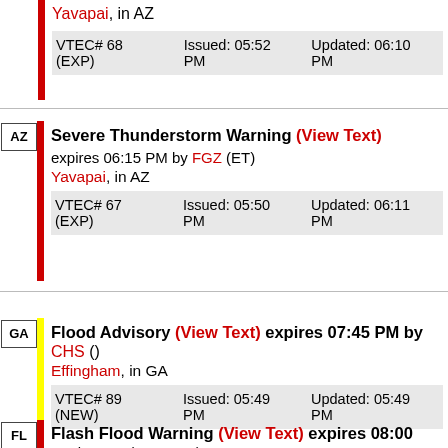Yavapai, in AZ — VTEC# 68 (EXP) Issued: 05:52 PM Updated: 06:10 PM
AZ — Severe Thunderstorm Warning (View Text) expires 06:15 PM by FGZ (ET) Yavapai, in AZ VTEC# 67 (EXP) Issued: 05:50 PM Updated: 06:11 PM
GA — Flood Advisory (View Text) expires 07:45 PM by CHS () Effingham, in GA VTEC# 89 (NEW) Issued: 05:49 PM Updated: 05:49 PM
FL — Flash Flood Warning (View Text) expires 08:00 PM by JAX (SHASHY)